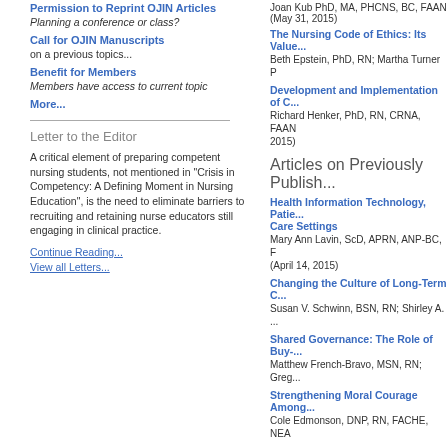Permission to Reprint OJIN Articles
Planning a conference or class?
Call for OJIN Manuscripts
on a previous topics...
Benefit for Members
Members have access to current topic
More...
Letter to the Editor
A critical element of preparing competent nursing students, not mentioned in "Crisis in Competency: A Defining Moment in Nursing Education", is the need to eliminate barriers to recruiting and retaining nurse educators still engaging in clinical practice.
Continue Reading...
View all Letters...
Joan Kub PhD, MA, PHCNS, BC, FAAN
(May 31, 2015)
The Nursing Code of Ethics: Its Value...
Beth Epstein, PhD, RN; Martha Turner P
Development and Implementation of C...
Richard Henker, PhD, RN, CRNA, FAAN
2015)
Articles on Previously Publish...
Health Information Technology, Patie...
Care Settings
Mary Ann Lavin, ScD, APRN, ANP-BC, F
(April 14, 2015)
Changing the Culture of Long-Term C...
Susan V. Schwinn, BSN, RN; Shirley A. ...
Shared Governance: The Role of Buy-...
Matthew French-Bravo, MSN, RN; Greg...
Strengthening Moral Courage Among...
Cole Edmonson, DNP, RN, FACHE, NEA
Columns
Informatics: Ethical Use of Genomic I...
Kim Amer, PhD, RN (May 8, 2015)
Cochrane Review Brief: Chinese Herb...
Jing Song, RN & Aihua Zhang, PhD, RN
Cochrane Review Brief: Interprofessio...
Outcomes
Gregory Malt, RN, BN, Grad Dip Critical...
Cochrane Review Brief: Discharge Pla...
Diana An, RN, BScN, CRA, MSc candida...
Ethics: Harm in the Emergency Depa...